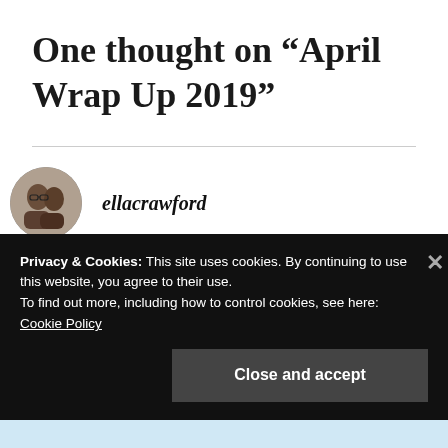One thought on “April Wrap Up 2019”
ellacrawford
MAY 11, 2019 AT 2:10 PM
Privacy & Cookies: This site uses cookies. By continuing to use this website, you agree to their use.
To find out more, including how to control cookies, see here:
Cookie Policy
Close and accept